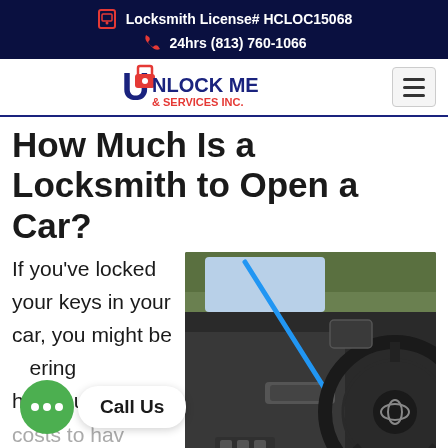Locksmith License# HCLOC15068
24hrs (813) 760-1066
[Figure (logo): Unlock Me & Services Inc. logo with stylized U and padlock icon in red, white and blue]
How Much Is a Locksmith to Open a Car?
If you've locked your keys in your car, you might be wondering how much it costs to have
[Figure (photo): Interior view of a car showing steering wheel (Mazda) and door handle being unlocked with a slim jim/slim tool (blue rod visible)]